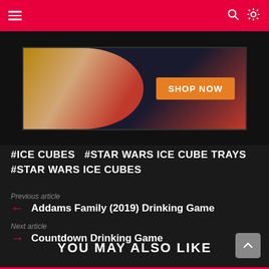Navigation bar with hamburger menu, search icon, and light/dark toggle
[Figure (photo): Advertisement image showing a drink glass on a red napkin with a 'SHOP NOW' orange button on a dark background]
#ICE CUBES  #STAR WARS ICE CUBE TRAYS  #STAR WARS ICE CUBES
Previous article
Addams Family (2019) Drinking Game
Next article
Countdown Drinking Game
YOU MAY ALSO LIKE